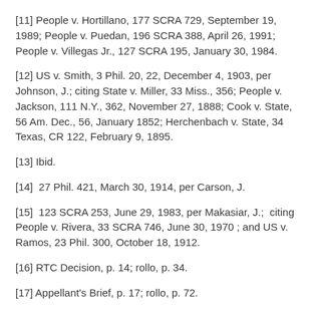[11] People v. Hortillano, 177 SCRA 729, September 19, 1989; People v. Puedan, 196 SCRA 388, April 26, 1991; People v. Villegas Jr., 127 SCRA 195, January 30, 1984.
[12] US v. Smith, 3 Phil. 20, 22, December 4, 1903, per Johnson, J.; citing State v. Miller, 33 Miss., 356; People v. Jackson, 111 N.Y., 362, November 27, 1888; Cook v. State, 56 Am. Dec., 56, January 1852; Herchenbach v. State, 34 Texas, CR 122, February 9, 1895.
[13] Ibid.
[14]  27 Phil. 421, March 30, 1914, per Carson, J.
[15]  123 SCRA 253, June 29, 1983, per Makasiar, J.;  citing People v. Rivera, 33 SCRA 746, June 30, 1970 ; and US v. Ramos, 23 Phil. 300, October 18, 1912.
[16] RTC Decision, p. 14; rollo, p. 34.
[17] Appellant's Brief, p. 17; rollo, p. 72.